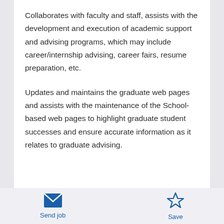Collaborates with faculty and staff, assists with the development and execution of academic support and advising programs, which may include career/internship advising, career fairs, resume preparation, etc.
Updates and maintains the graduate web pages and assists with the maintenance of the School-based web pages to highlight graduate student successes and ensure accurate information as it relates to graduate advising.
[Figure (illustration): Envelope icon for Send job action]
Send job
[Figure (illustration): Star outline icon for Save action]
Save